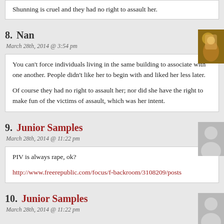Shunning is cruel and they had no right to assault her.
8. Nan
March 28th, 2014 @ 3:54 pm
You can’t force individuals living in the same building to associate with one another. People didn’t like her to begin with and liked her less later.

Of course they had no right to assault her; nor did she have the right to make fun of the victims of assault, which was her intent.
9. Junior Samples
March 28th, 2014 @ 11:22 pm
PIV is always rape, ok?
http://www.freerepublic.com/focus/f-backroom/3108209/posts
10. Junior Samples
March 28th, 2014 @ 11:22 pm